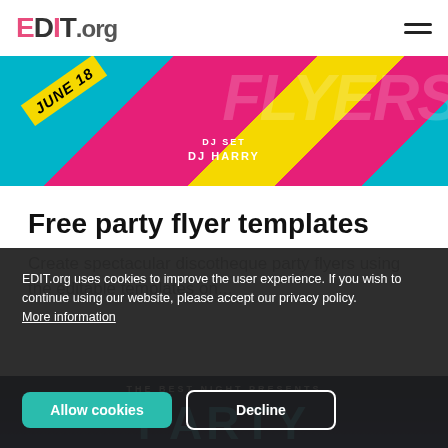EDIT.org
[Figure (photo): Colorful party flyer with teal, pink, and yellow diagonal stripes. Shows 'JUNE 18' text on a yellow banner angled diagonally, 'DJ SET' and 'DJ HARRY' text at the bottom center. Large faded text in background.]
Free party flyer templates
Create spectacular discotheque party flyers using the editable templates on...
[Figure (photo): Dark navy/blue background party flyer. Top text reads 'THE BEST NIGHT PRESENTS'. Large bright cyan/blue letters spell 'PARTY' at the bottom.]
EDIT.org uses cookies to improve the user experience. If you wish to continue using our website, please accept our privacy policy. More information
Allow cookies
Decline